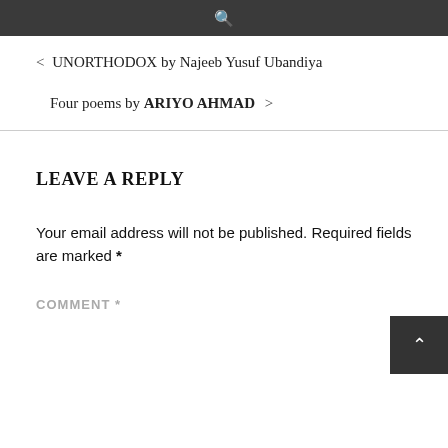🔍
< UNORTHODOX by Najeeb Yusuf Ubandiya
Four poems by ARIYO AHMAD >
LEAVE A REPLY
Your email address will not be published. Required fields are marked *
COMMENT *